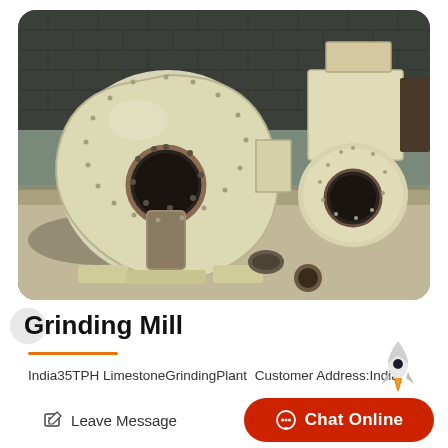[Figure (photo): Industrial grinding mill equipment — large cream/white colored centrifugal blower/mill components on a concrete floor against a dark brick wall background. Two main mill housings visible with circular inlet openings.]
Grinding Mill
India35TPH LimestoneGrindingPlant  Customer Address:India
Leave Message
Chat Online